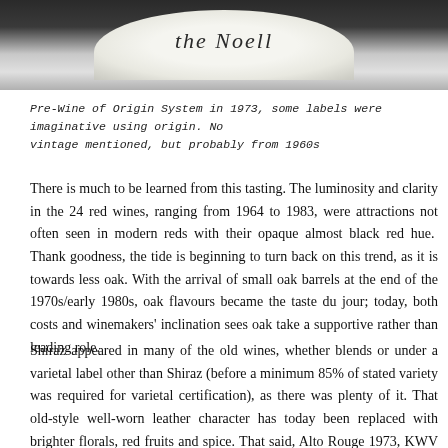[Figure (photo): Top portion of a wine bottle label showing cursive/script text on a light oval background against a dark bottle]
Pre-Wine of Origin System in 1973, some labels were imaginative using origin. No vintage mentioned, but probably from 1960s
There is much to be learned from this tasting. The luminosity and clarity in the 24 red wines, ranging from 1964 to 1983, were attractions not often seen in modern reds with their opaque almost black red hue.  Thank goodness, the tide is beginning to turn back on this trend, as it is towards less oak. With the arrival of small oak barrels at the end of the 1970s/early 1980s, oak flavours became the taste du jour; today, both costs and winemakers' inclination sees oak take a supportive rather than leading role.
Shiraz appeared in many of the old wines, whether blends or under a varietal label other than Shiraz (before a minimum 85% of stated variety was required for varietal certification), as there was plenty of it. That old-style well-worn leather character has today been replaced with brighter florals, red fruits and spice. That said, Alto Rouge 1973, KWV Roodeberg